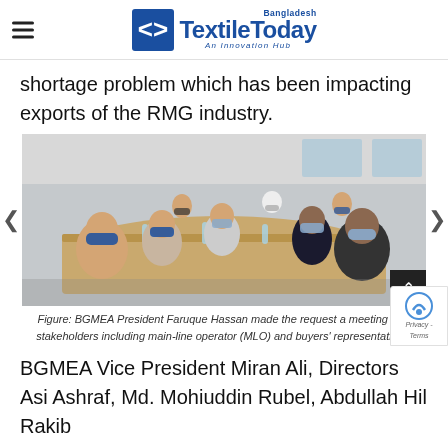Textile Today Bangladesh - An Innovation Hub
shortage problem which has been impacting exports of the RMG industry.
[Figure (photo): Group photo of people wearing masks sitting around a conference table in a meeting room. Several men and a woman are seated, wearing face masks.]
Figure: BGMEA President Faruque Hassan made the request a meeting with stakeholders including main-line operator (MLO) and buyers' representatives.
BGMEA Vice President Miran Ali, Directors Asi Ashraf, Md. Mohiuddin Rubel, Abdullah Hil Rakib